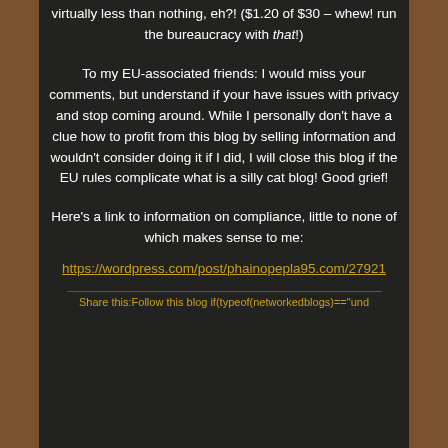virtually less than nothing, eh?! ($1.20 of $30 – whew! run the bureaucracy with that!)
To my EU-associated friends: I would miss your comments, but understand if your have issues with privacy and stop coming around. While I personally don't have a clue how to profit from this blog by selling information and wouldn't consider doing it if I did, I will close this blog if the EU rules complicate what is a silly cat blog! Good grief!
Here's a link to information on compliance, little to none of which makes sense to me:
https://wordpress.com/post/phainopepla95.com/279221
Share this:Follow this blog if(typeof(networkedblogs)=="und